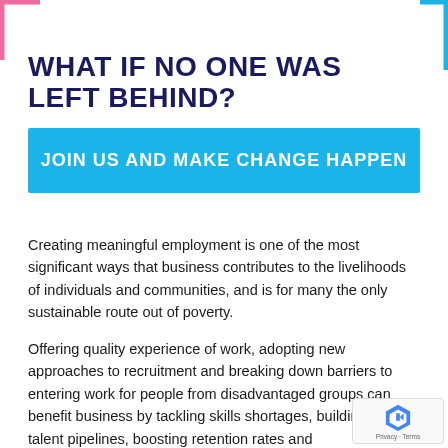WHAT IF NO ONE WAS LEFT BEHIND?
JOIN US AND MAKE CHANGE HAPPEN
Creating meaningful employment is one of the most significant ways that business contributes to the livelihoods of individuals and communities, and is for many the only sustainable route out of poverty.
Offering quality experience of work, adopting new approaches to recruitment and breaking down barriers to entering work for people from disadvantaged groups can benefit business by tackling skills shortages, building new talent pipelines, boosting retention rates and achieving higher productivity.